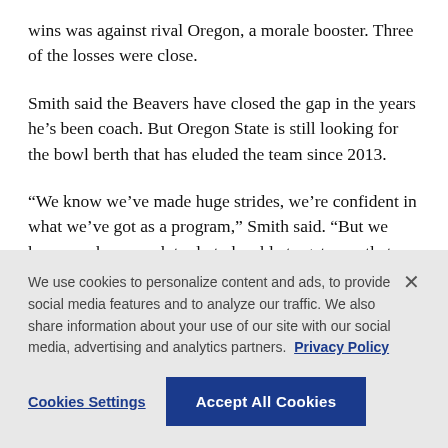wins was against rival Oregon, a morale booster. Three of the losses were close.
Smith said the Beavers have closed the gap in the years he’s been coach. But Oregon State is still looking for the bowl berth that has eluded the team since 2013.
“We know we’ve made huge strides, we’re confident in what we’ve got as a program,” Smith said. “But we know we have work to do to be able to get over that hump and win all those games that are really close.”
We use cookies to personalize content and ads, to provide social media features and to analyze our traffic. We also share information about your use of our site with our social media, advertising and analytics partners. Privacy Policy